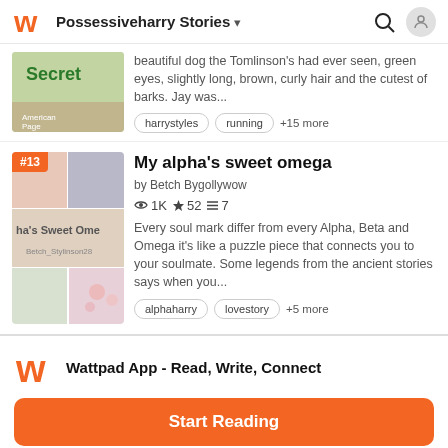Possessiveharry Stories
beautiful dog the Tomlinson's had ever seen, green eyes, slightly long, brown, curly hair and the cutest of barks. Jay was...
harrystyles   running   +15 more
My alpha's sweet omega
by Betch Bygollywow
1K ★52 ≡7
Every soul mark differ from every Alpha, Beta and Omega it's like a puzzle piece that connects you to your soulmate. Some legends from the ancient stories says when you...
alphaharry   lovestory   +5 more
Wattpad App - Read, Write, Connect
Start Reading
Log in with Browser